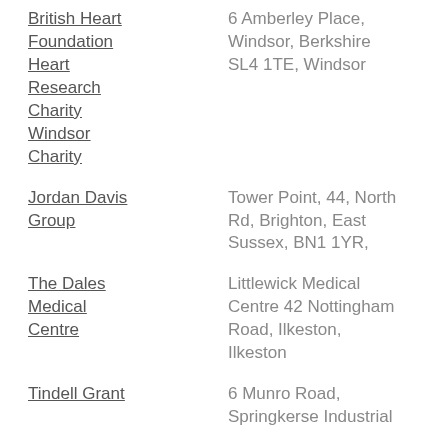British Heart Foundation Heart Research Charity Windsor Charity
6 Amberley Place, Windsor, Berkshire SL4 1TE, Windsor
Jordan Davis Group
Tower Point, 44, North Rd, Brighton, East Sussex, BN1 1YR,
The Dales Medical Centre
Littlewick Medical Centre 42 Nottingham Road, Ilkeston, Ilkeston
Tindell Grant
6 Munro Road, Springkerse Industrial